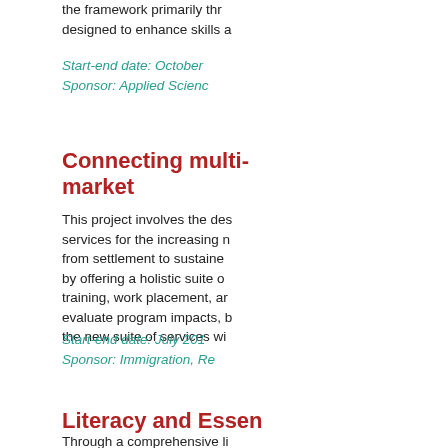the framework primarily thr designed to enhance skills a
Start-end date: October
Sponsor: Applied Scienc
Connecting multi- market
This project involves the des services for the increasing n from settlement to sustaine by offering a holistic suite o training, work placement, a evaluate program impacts, b the new suite of services wi
Start-end date: July 201
Sponsor: Immigration, Re
Literacy and Essen
Through a comprehensive li